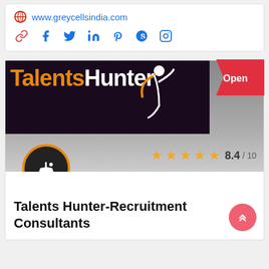www.greycellsindia.com
[Figure (screenshot): Social media icons row: link, facebook, twitter, linkedin, pinterest, skype, instagram]
[Figure (logo): Talents Hunter company banner logo on dark background with human figure icon, rating 8.4/10 with stars, and marine/shipping category icon circle]
Talents Hunter-Recruitment Consultants